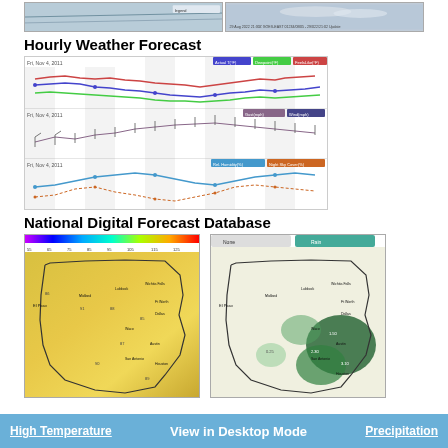[Figure (photo): Top two satellite/map images clipped at top of page]
Hourly Weather Forecast
[Figure (line-chart): Hourly weather forecast multi-panel chart showing temperature, wind, and humidity lines over time for Fri Nov 4 2011 and Sat Nov 5 2011]
National Digital Forecast Database
[Figure (map): High Temperature map of Texas region with color gradient showing temperature values]
[Figure (map): Precipitation map of Texas region with green shading showing precipitation amounts]
High Temperature | View in Desktop Mode | Precipitation